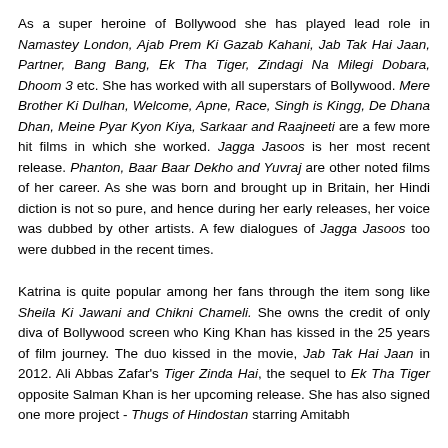As a super heroine of Bollywood she has played lead role in Namastey London, Ajab Prem Ki Gazab Kahani, Jab Tak Hai Jaan, Partner, Bang Bang, Ek Tha Tiger, Zindagi Na Milegi Dobara, Dhoom 3 etc. She has worked with all superstars of Bollywood. Mere Brother Ki Dulhan, Welcome, Apne, Race, Singh is Kingg, De Dhana Dhan, Meine Pyar Kyon Kiya, Sarkaar and Raajneeti are a few more hit films in which she worked. Jagga Jasoos is her most recent release. Phanton, Baar Baar Dekho and Yuvraj are other noted films of her career. As she was born and brought up in Britain, her Hindi diction is not so pure, and hence during her early releases, her voice was dubbed by other artists. A few dialogues of Jagga Jasoos too were dubbed in the recent times.
Katrina is quite popular among her fans through the item song like Sheila Ki Jawani and Chikni Chameli. She owns the credit of only diva of Bollywood screen who King Khan has kissed in the 25 years of film journey. The duo kissed in the movie, Jab Tak Hai Jaan in 2012. Ali Abbas Zafar's Tiger Zinda Hai, the sequel to Ek Tha Tiger opposite Salman Khan is her upcoming release. She has also signed one more project - Thugs of Hindostan starring Amitabh